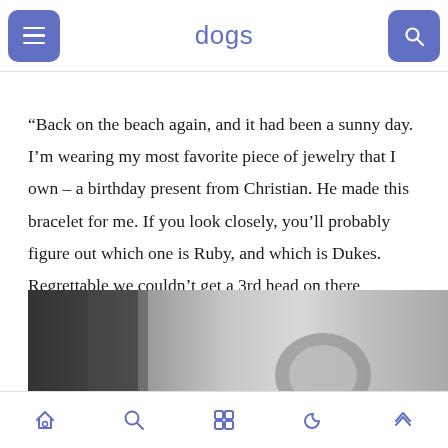dogs
“Back on the beach again, and it had been a sunny day. I’m wearing my most favorite piece of jewelry that I own – a birthday present from Christian. He made this bracelet for me. If you look closely, you’ll probably figure out which one is Ruby, and which is Dukes. Regrettable we couldn’t get a 3rd head on there somewhere. Poor Violet!”
[Figure (photo): Black and white photo showing a person's wrist or hand with a bracelet, partially visible at bottom of page.]